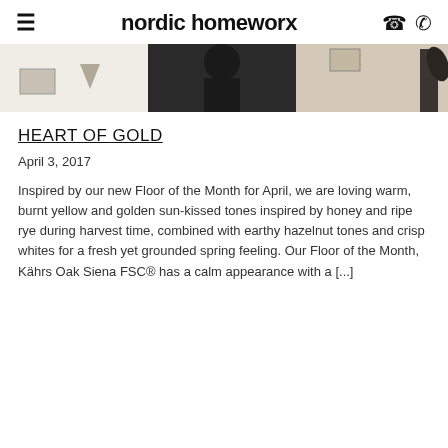nordic homeworx
[Figure (photo): Hero banner image showing Nordic interior design with warm tones, artwork, and decorative elements]
HEART OF GOLD
April 3, 2017
Inspired by our new Floor of the Month for April, we are loving warm, burnt yellow and golden sun-kissed tones inspired by honey and ripe rye during harvest time, combined with earthy hazelnut tones and crisp whites for a fresh yet grounded spring feeling. Our Floor of the Month, Kährs Oak Siena FSC® has a calm appearance with a [...]